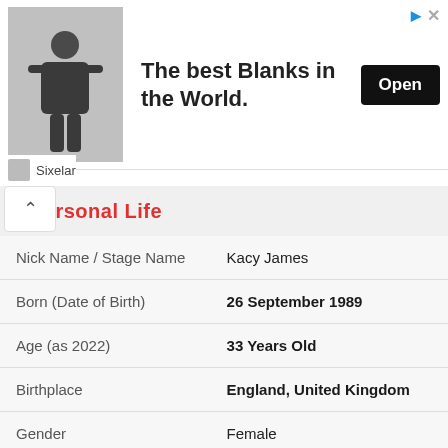[Figure (photo): Advertisement banner: person wearing dark t-shirt on left, bold text 'The best Blanks in the World.' in center, black 'Open' button on right. Sixelar branding below.]
Personal Life
| Field | Value |
| --- | --- |
| Nick Name / Stage Name | Kacy James |
| Born (Date of Birth) | 26 September 1989 |
| Age (as 2022) | 33 Years Old |
| Birthplace | England, United Kingdom |
| Gender | Female |
| Zodiac Sign | Libra |